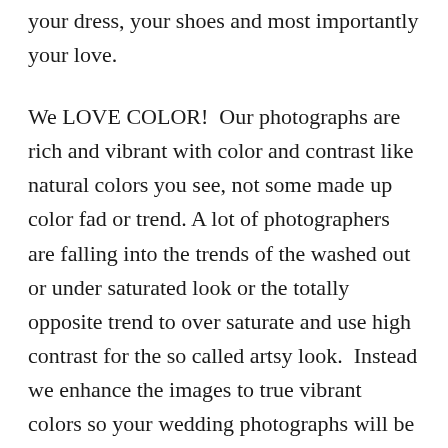your dress, your shoes and most importantly your love.
We LOVE COLOR!  Our photographs are rich and vibrant with color and contrast like natural colors you see, not some made up color fad or trend. A lot of photographers are falling into the trends of the washed out or under saturated look or the totally opposite trend to over saturate and use high contrast for the so called artsy look.  Instead we enhance the images to true vibrant colors so your wedding photographs will be timeless and not looking weird or dated 10, 20 or 30 years from now.